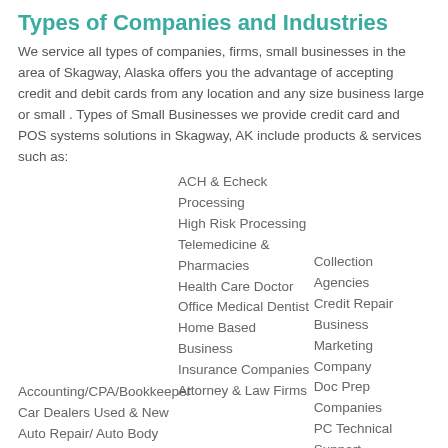Types of Companies and Industries
We service all types of companies, firms, small businesses in the area of Skagway, Alaska offers you the advantage of accepting credit and debit cards from any location and any size business large or small . Types of Small Businesses we provide credit card and POS systems solutions in Skagway, AK include products & services such as:
ACH & Echeck Processing
High Risk Processing
Telemedicine & Pharmacies
Health Care Doctor
Office Medical Dentist
Home Based Business
Insurance Companies
Attorney & Law Firms
Collection Agencies
Credit Repair Business
Marketing Company
Doc Prep Companies
PC Technical Support
Smoke Shops & Tobacco
Accounting/CPA/Bookkeeper
Car Dealers Used & New
Auto Repair/ Auto Body
Bars/Night Clubs/Lounges
Car Wash Car Repair
Catering Companies